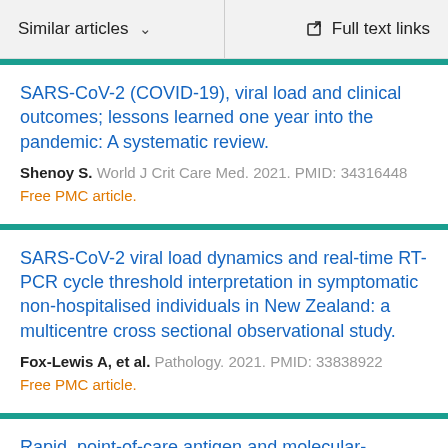Similar articles  ∨  Full text links
SARS-CoV-2 (COVID-19), viral load and clinical outcomes; lessons learned one year into the pandemic: A systematic review.
Shenoy S. World J Crit Care Med. 2021. PMID: 34316448
Free PMC article.
SARS-CoV-2 viral load dynamics and real-time RT-PCR cycle threshold interpretation in symptomatic non-hospitalised individuals in New Zealand: a multicentre cross sectional observational study.
Fox-Lewis A, et al. Pathology. 2021. PMID: 33838922
Free PMC article.
Rapid, point-of-care antigen and molecular-